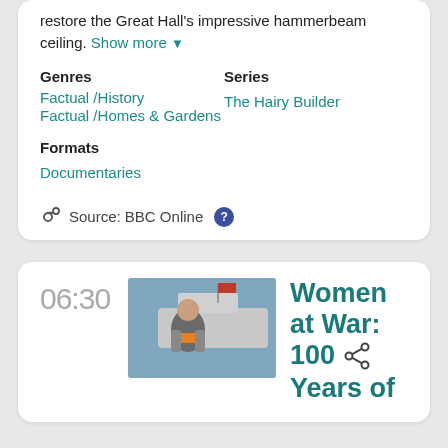restore the Great Hall's impressive hammerbeam ceiling. Show more
Genres
Factual / History
Factual / Homes & Gardens
Series
The Hairy Builder
Formats
Documentaries
Source: BBC Online
06:30
[Figure (photo): Thumbnail image of a woman in a grey jacket with orange top, standing in front of a boat or ship, outdoors.]
Women at War: 100 Years of